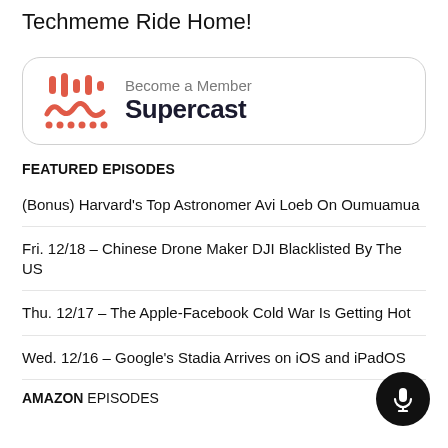Techmeme Ride Home!
[Figure (logo): Supercast logo with podcast waveform icon in red/coral color]
Become a Member Supercast
FEATURED EPISODES
(Bonus) Harvard's Top Astronomer Avi Loeb On Oumuamua
Fri. 12/18 – Chinese Drone Maker DJI Blacklisted By The US
Thu. 12/17 – The Apple-Facebook Cold War Is Getting Hot
Wed. 12/16 – Google's Stadia Arrives on iOS and iPadOS
AMAZON EPISODES